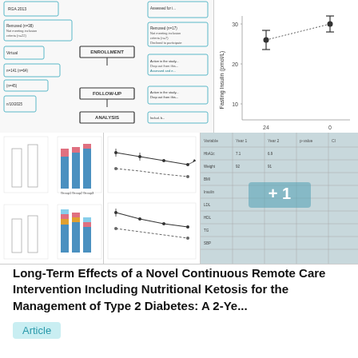[Figure (flowchart): Clinical trial CONSORT flowchart showing enrollment, follow-up, and analysis stages with box and arrow diagrams]
[Figure (continuous-plot): Scatter/dot plot of Fasting Insulin (pmol/L) vs time points (24 and 0), showing error bars, y-axis label 'Fasting Insulin (pmol/L)']
[Figure (grouped-bar-chart): Two grouped stacked bar charts: top shows blue/pink bars, bottom shows blue/orange/pink stacked bars]
[Figure (line-chart): Multiple line charts with error bars showing trends over time]
[Figure (table-as-image): Data table image, partially obscured with '+1' overlay indicating additional figures]
Long-Term Effects of a Novel Continuous Remote Care Intervention Including Nutritional Ketosis for the Management of Type 2 Diabetes: A 2-Ye...
Article
Jun 2019
Shaminie Athinarayanan · Rebecca N Adams · Sarah Hallberg · [...] · James Mccarter
Purpose: Studies on long-term sustainability of low-carbohydrate approaches to treat diabetes are limited. We examined and reported the effective...